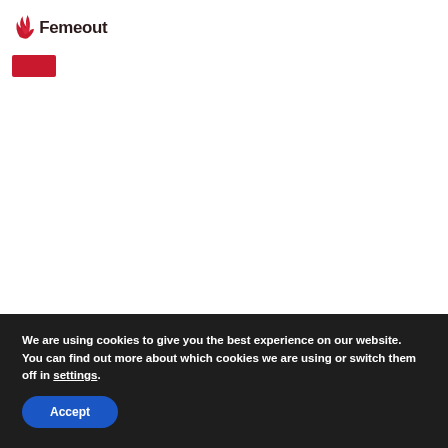[Figure (logo): Femeout logo with stylized flame/leaf icon in red/pink and dark red text 'Femeout']
[Figure (other): Small red/crimson rectangular button element]
We are using cookies to give you the best experience on our website.
You can find out more about which cookies we are using or switch them off in settings.
Accept